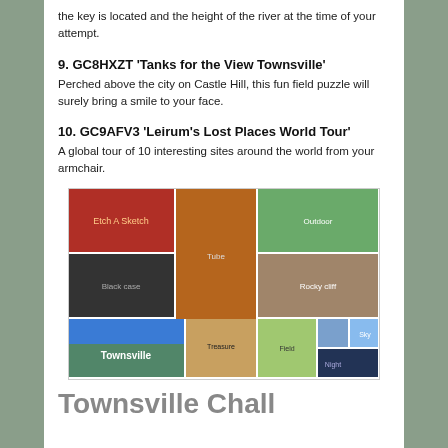the key is located and the height of the river at the time of your attempt.
9. GC8HXZT 'Tanks for the View Townsville'
Perched above the city on Castle Hill, this fun field puzzle will surely bring a smile to your face.
10. GC9AFV3 'Leirum’s Lost Places World Tour'
A global tour of 10 interesting sites around the world from your armchair.
[Figure (photo): Photo collage of geocaching locations including Townsville landmarks, caches, and outdoor scenes]
Townsville Chall...